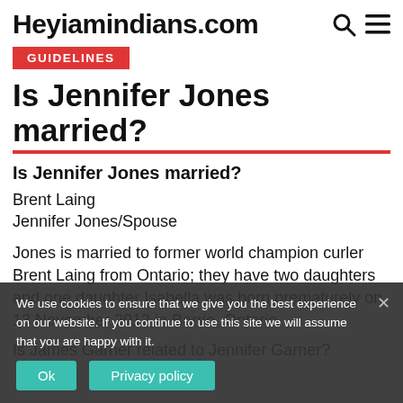Heyiamindians.com
GUIDELINES
Is Jennifer Jones married?
Is Jennifer Jones married?
Brent Laing
Jennifer Jones/Spouse
Jones is married to former world champion curler Brent Laing from Ontario; they have two daughters and one daughter Isabella was born prematurely on 13 November 2012 in Barrie, Ontario.
Is James Garner related to Jennifer Garner?
We use cookies to ensure that we give you the best experience on our website. If you continue to use this site we will assume that you are happy with it.